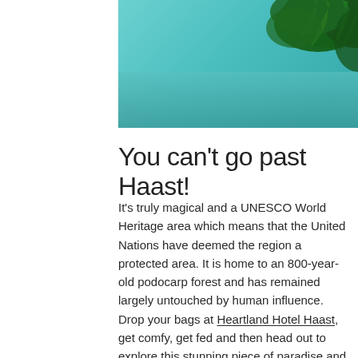[Figure (photo): Partial photo showing teal/turquoise water and green fern/tree foliage in the upper right corner, cropped at top of page]
You can't go past Haast!
It's truly magical and a UNESCO World Heritage area which means that the United Nations have deemed the region a protected area. It is home to an 800-year-old podocarp forest and has remained largely untouched by human influence. Drop your bags at Heartland Hotel Haast, get comfy, get fed and then head out to explore this stunning piece of paradise and be mindful as you go. We've collated a list of fantastic activities we think you might like to get started with!